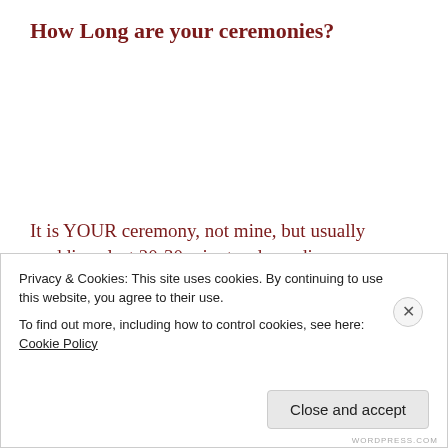How Long are your ceremonies?
It is YOUR ceremony, not mine, but usually weddings last 20-30 minutes depending on variables such how much music, how many readings, and how elaborate the processional and any other special rituals.
Privacy & Cookies: This site uses cookies. By continuing to use this website, you agree to their use.
To find out more, including how to control cookies, see here: Cookie Policy
Close and accept